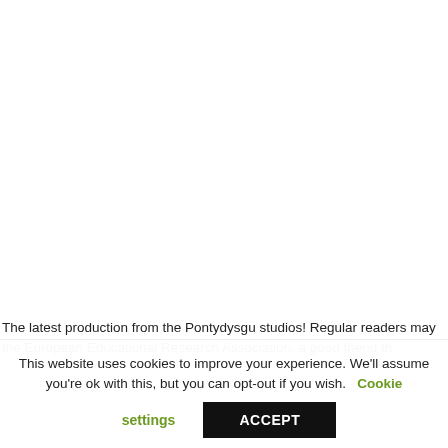The latest production from the Pontydysgu studios! Regular readers may the European Educational Research Association, a good friend th...
This website uses cookies to improve your experience. We'll assume you're ok with this, but you can opt-out if you wish. Cookie settings